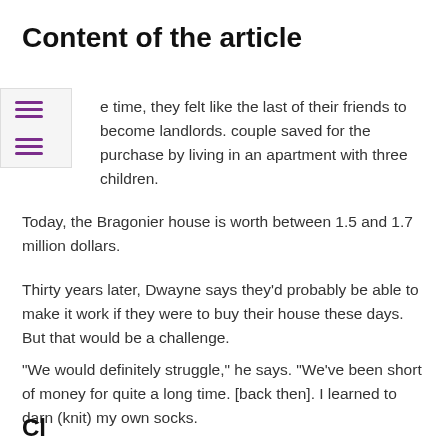Content of the article
e time, they felt like the last of their friends to become landlords. couple saved for the purchase by living in an apartment with three children.
Today, the Bragonier house is worth between 1.5 and 1.7 million dollars.
Thirty years later, Dwayne says they'd probably be able to make it work if they were to buy their house these days. But that would be a challenge.
“We would definitely struggle,” he says. “We’ve been short of money for quite a long time. [back then]. I learned to darn (knit) my own socks.
Cl...